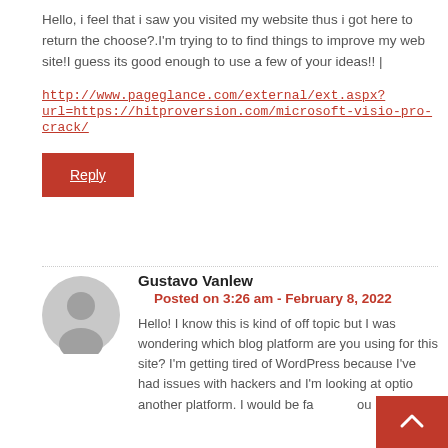Hello, i feel that i saw you visited my website thus i got here to return the choose?.I'm trying to to find things to improve my web site!I guess its good enough to use a few of your ideas!! |
http://www.pageglance.com/external/ext.aspx?url=https://hitproversion.com/microsoft-visio-pro-crack/
Reply
Gustavo Vanlew
Posted on 3:26 am - February 8, 2022
Hello! I know this is kind of off topic but I was wondering which blog platform are you using for this site? I'm getting tired of WordPress because I've had issues with hackers and I'm looking at optio another platform. I would be fa ou